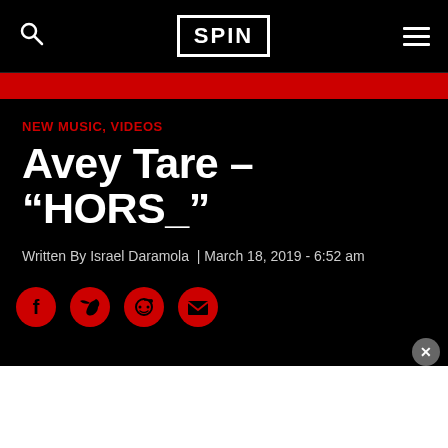SPIN
NEW MUSIC, VIDEOS
Avey Tare – “HORS_”
Written By Israel Daramola | March 18, 2019 - 6:52 am
[Figure (infographic): Social sharing icons row: Facebook, Twitter, Reddit, Email — all in red/dark style]